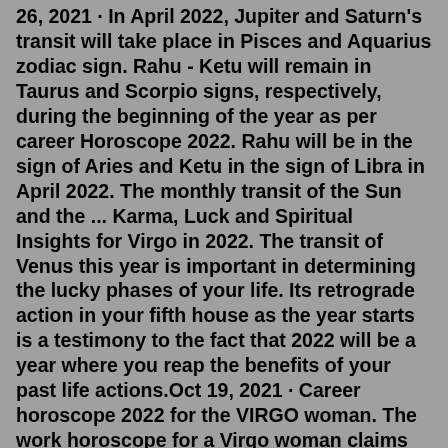26, 2021 · In April 2022, Jupiter and Saturn's transit will take place in Pisces and Aquarius zodiac sign. Rahu - Ketu will remain in Taurus and Scorpio signs, respectively, during the beginning of the year as per career Horoscope 2022. Rahu will be in the sign of Aries and Ketu in the sign of Libra in April 2022. The monthly transit of the Sun and the ... Karma, Luck and Spiritual Insights for Virgo in 2022. The transit of Venus this year is important in determining the lucky phases of your life. Its retrograde action in your fifth house as the year starts is a testimony to the fact that 2022 will be a year where you reap the benefits of your past life actions.Oct 19, 2021 · Career horoscope 2022 for the VIRGO woman. The work horoscope for a Virgo woman claims that 2022 will be no less successful for the fair sex than for men of this sign. Most of the plans, even the most daring ones, are destined to be successfully realized. Career and creative heights will fall at the feet of ambitious hardworking ladies. May 26, 2021 · In April 2022,